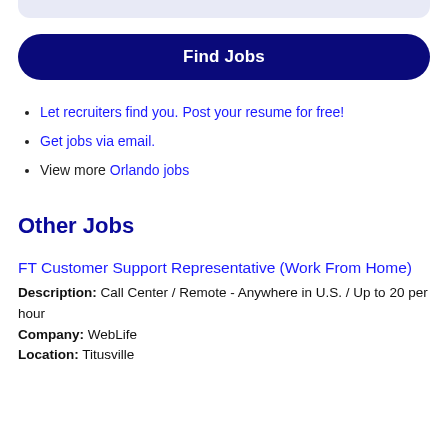Let recruiters find you. Post your resume for free!
Get jobs via email.
View more Orlando jobs
Other Jobs
FT Customer Support Representative (Work From Home)
Description: Call Center / Remote - Anywhere in U.S. / Up to 20 per hour
Company: WebLife
Location: Titusville